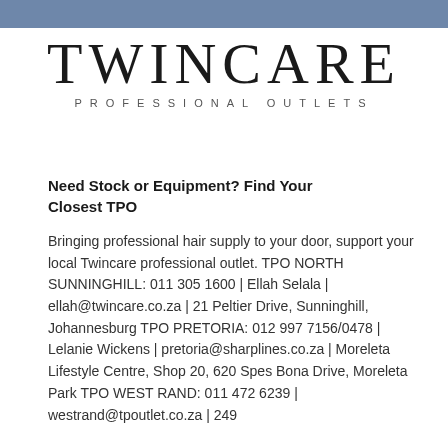[Figure (logo): Twincare Professional Outlets logo with blue bar at top, large serif TWINCARE text, and spaced sans-serif subtitle PROFESSIONAL OUTLETS]
Need Stock or Equipment? Find Your Closest TPO
Bringing professional hair supply to your door, support your local Twincare professional outlet. TPO NORTH SUNNINGHILL: 011 305 1600 | Ellah Selala | ellah@twincare.co.za | 21 Peltier Drive, Sunninghill, Johannesburg TPO PRETORIA: 012 997 7156/0478 | Lelanie Wickens | pretoria@sharplines.co.za | Moreleta Lifestyle Centre, Shop 20, 620 Spes Bona Drive, Moreleta Park TPO WEST RAND: 011 472 6239 | westrand@tpoutlet.co.za | 249